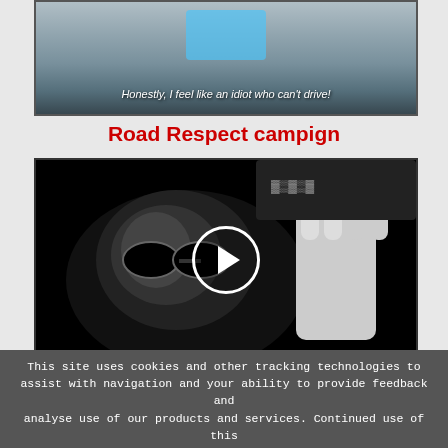[Figure (screenshot): Top portion of a video screenshot showing people in a car with subtitle text: 'Honestly, I feel like an idiot who can't drive!']
Road Respect campign
[Figure (screenshot): Black and white video thumbnail showing a close-up face with sunglasses and a hand raised, with a circular play button overlay in the center.]
See more on the Road Respect site
This site uses cookies and other tracking technologies to assist with navigation and your ability to provide feedback and analyse use of our products and services. Continued use of this